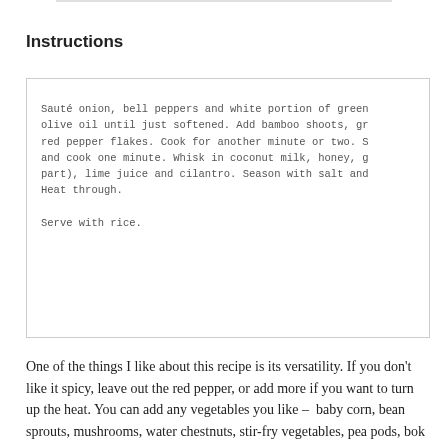Instructions
Sauté onion, bell peppers and white portion of green onion in olive oil until just softened. Add bamboo shoots, ginger and red pepper flakes. Cook for another minute or two. Stir in garlic and cook one minute. Whisk in coconut milk, honey, green onion (green part), lime juice and cilantro. Season with salt and pepper. Heat through.

Serve with rice.
One of the things I like about this recipe is its versatility. If you don't like it spicy, leave out the red pepper, or add more if you want to turn up the heat. You can add any vegetables you like – baby corn, bean sprouts, mushrooms, water chestnuts, stir-fry vegetables, pea pods, bok choy –